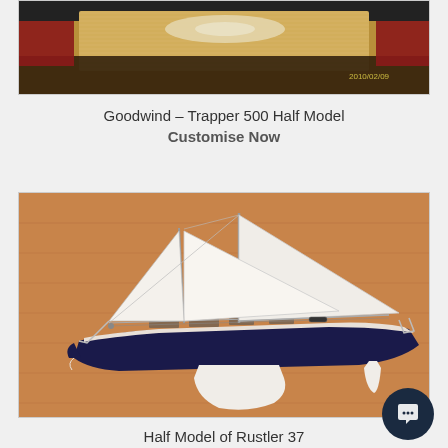[Figure (photo): Partial view of a boat half model with wooden plaque — Goodwind Trapper 500, cropped at top, date stamp 2010/02/09]
Goodwind – Trapper 500 Half Model
Customise Now
[Figure (photo): Half model of Rustler 37 sailboat mounted on a wooden plaque, showing dark navy hull, white sails, and visible keel/rudder against a warm brown wood background]
Half Model of Rustler 37
Customise Now